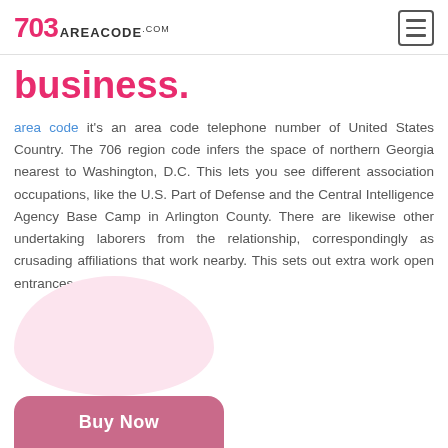703 AREACODE.com
business.
area code it's an area code telephone number of United States Country. The 706 region code infers the space of northern Georgia nearest to Washington, D.C. This lets you see different association occupations, like the U.S. Part of Defense and the Central Intelligence Agency Base Camp in Arlington County. There are likewise other undertaking laborers from the relationship, correspondingly as crusading affiliations that work nearby. This sets out extra work open entrances.